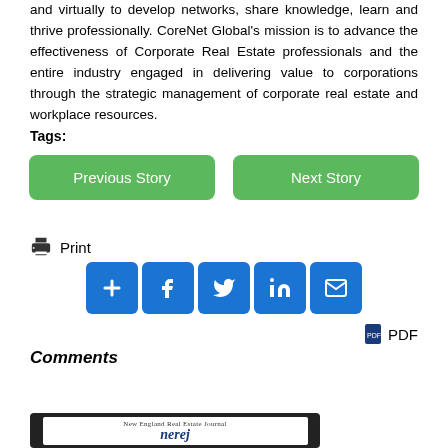and virtually to develop networks, share knowledge, learn and thrive professionally. CoreNet Global's mission is to advance the effectiveness of Corporate Real Estate professionals and the entire industry engaged in delivering value to corporations through the strategic management of corporate real estate and workplace resources.
Tags:
[Figure (other): Two navigation buttons: 'Previous Story' and 'Next Story', both green rounded rectangles with white text]
[Figure (other): Print icon with 'Print' label]
[Figure (other): Social sharing icons row: add (+), Facebook (f), Twitter (bird), LinkedIn (in), Email (envelope) — all blue square buttons]
[Figure (other): PDF download link with document icon]
Comments
[Figure (other): Blue 'Add Comment' button]
[Figure (screenshot): New England Real Estate Journal (nerej) magazine shown on tablet and phone devices]